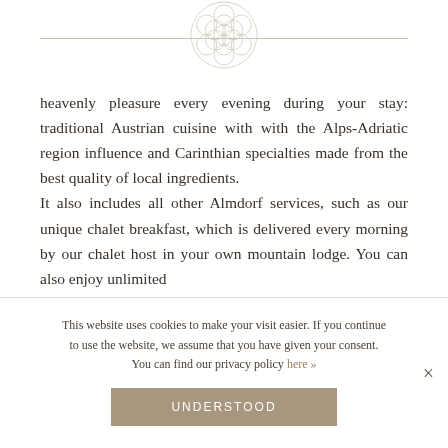[Figure (logo): Circular geometric flower-of-life pattern logo in light gray/beige]
heavenly pleasure every evening during your stay: traditional Austrian cuisine with with the Alps-Adriatic region influence and Carinthian specialties made from the best quality of local ingredients.
It also includes all other Almdorf services, such as our unique chalet breakfast, which is delivered every morning by our chalet host in your own mountain lodge. You can also enjoy unlimited
This website uses cookies to make your visit easier. If you continue to use the website, we assume that you have given your consent. You can find our privacy policy here »
UNDERSTOOD